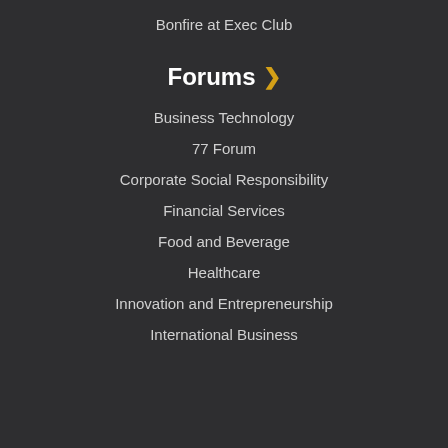Bonfire at Exec Club
Forums ›
Business Technology
77 Forum
Corporate Social Responsibility
Financial Services
Food and Beverage
Healthcare
Innovation and Entrepreneurship
International Business